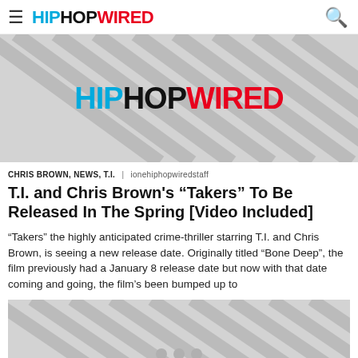HIPHOPWIRED
[Figure (logo): HipHopWired logo placeholder image with diagonal stripes on grey background]
CHRIS BROWN, NEWS, T.I. | ionehiphopwiredstaff
T.I. and Chris Brown's “Takers” To Be Released In The Spring [Video Included]
“Takers” the highly anticipated crime-thriller starring T.I. and Chris Brown, is seeing a new release date. Originally titled “Bone Deep”, the film previously had a January 8 release date but now with that date coming and going, the film’s been bumped up to
[Figure (photo): Second placeholder image with diagonal stripes on grey background and three dots indicator]